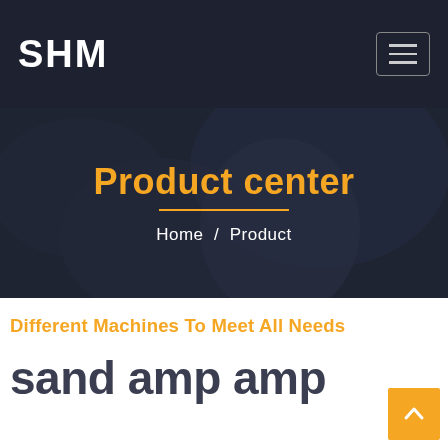SHM
Product center
Home / Product
Different Machines To Meet All Needs
sand amp amp